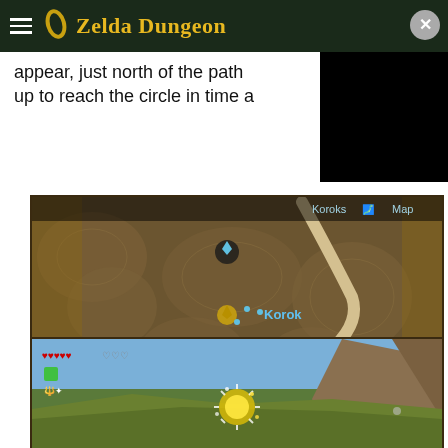Zelda Dungeon
appear, just north of the path... up to reach the circle in time a
[Figure (screenshot): In-game map screenshot from The Legend of Zelda: Breath of the Wild showing terrain map with a Korok marker labeled 'Korok', path/road in beige, and location labels including 'Great Faro Fountain'. UI elements show 'Koroks', 'Map', and controller button prompts at the bottom.]
[Figure (screenshot): In-game gameplay screenshot from The Legend of Zelda: Breath of the Wild showing a golden sparkling Korok puzzle flower/leaf ring in a rocky outdoor environment with blue sky. HUD shows health bar and stamina in top left.]